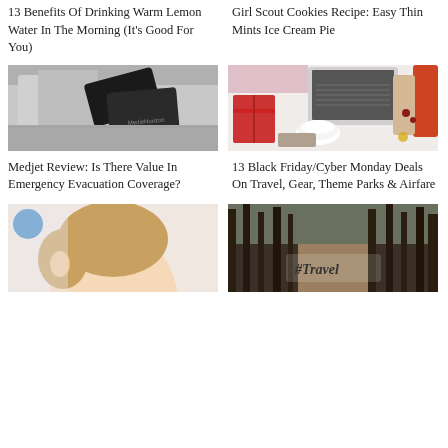13 Benefits Of Drinking Warm Lemon Water In The Morning (It’s Good For You)
Girl Scout Cookies Recipe: Easy Thin Mints Ice Cream Pie
[Figure (photo): Black and silver credit cards scattered on a metal surface]
[Figure (photo): Flatlay with laptop, wrapped gifts, hot chocolate, credit card, and craft paper on a white surface]
Medjet Review: Is There Value In Emergency Evacuation Coverage?
13 Black Friday/Cyber Monday Deals On Travel, Gear, Theme Parks & Airfare
[Figure (photo): Close-up of a young baby's head from behind]
[Figure (photo): Forest path with a handwritten #Travel sign]